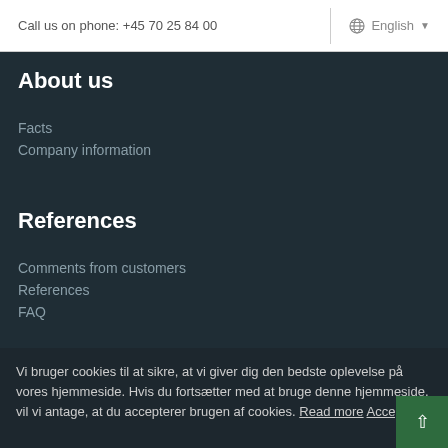Call us on phone: +45 70 25 84 00   English
About us
Facts
Company information
References
Comments from customers
References
FAQ
Information
Vi bruger cookies til at sikre, at vi giver dig den bedste oplevelse på vores hjemmeside. Hvis du fortsætter med at bruge denne hjemmeside, vil vi antage, at du accepterer brugen af cookies. Read more Acceptér